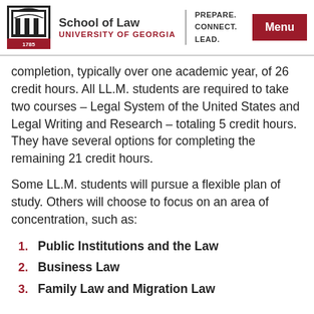School of Law — University of Georgia
completion, typically over one academic year, of 26 credit hours. All LL.M. students are required to take two courses – Legal System of the United States and Legal Writing and Research – totaling 5 credit hours. They have several options for completing the remaining 21 credit hours.
Some LL.M. students will pursue a flexible plan of study. Others will choose to focus on an area of concentration, such as:
Public Institutions and the Law
Business Law
Family Law and Migration Law